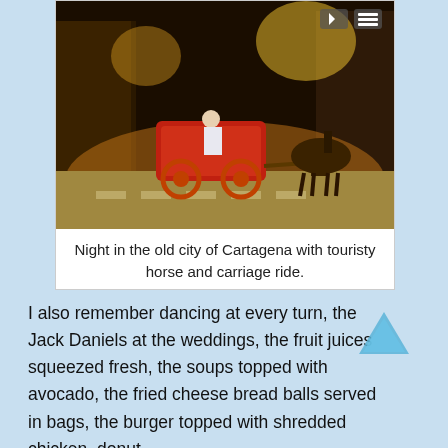[Figure (photo): Night scene in the old city of Cartagena showing a red horse-drawn carriage on a cobblestone street lit by warm golden streetlights, with old colonial buildings lining the narrow street.]
Night in the old city of Cartagena with touristy horse and carriage ride.
I also remember dancing at every turn, the Jack Daniels at the weddings, the fruit juices squeezed fresh, the soups topped with avocado, the fried cheese bread balls served in bags, the burger topped with shredded chicken, donuts...